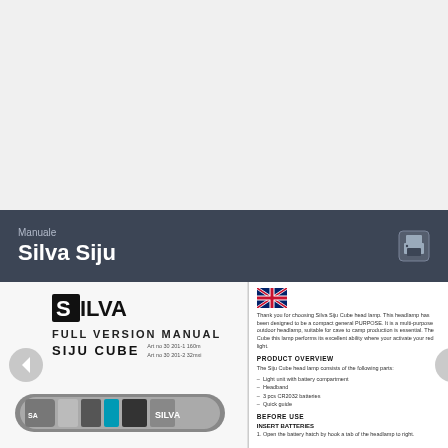[Figure (other): Gray background area at top of page, empty]
Manuale
Silva Siju
[Figure (screenshot): Document viewer page showing Silva Siju Cube full version manual with headlamp product image, UK flag, product overview text, and before use instructions]
Thank you for choosing Silva Siju Cube head lamp. This headlamp has been designed to be a compact general PURPOSE. It is a multi-purpose outdoor headlamp, suitable for cave to camp production is essential. The Cube's this lamp performs its excellent ability where your activate your red light.
PRODUCT OVERVIEW
Light unit with battery compartment
Headband
3 pcs CR2032 batteries
Quick guide
BEFORE USE
INSERT BATTERIES
1. Open the battery hatch by hook a tab of the headlamp to right.